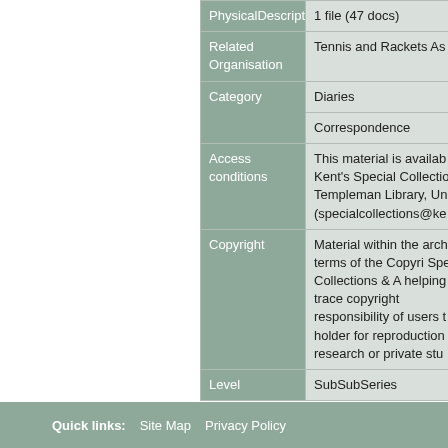| Field | Value |
| --- | --- |
| PhysicalDescription | 1 file (47 docs) |
| Related Organisation | Tennis and Rackets As... |
| Category | Diaries |
|  | Correspondence |
| Access conditions | This material is availab... Kent's Special Collectio... Templeman Library, Un... (specialcollections@ke... |
| Copyright | Material within the arch... the terms of the Copyri... Special Collections & A... helping trace copyright... responsibility of users t... holder for reproduction... research or private stu... |
| Level | SubSubSeries |
Quick links:  Site Map  Privacy Policy